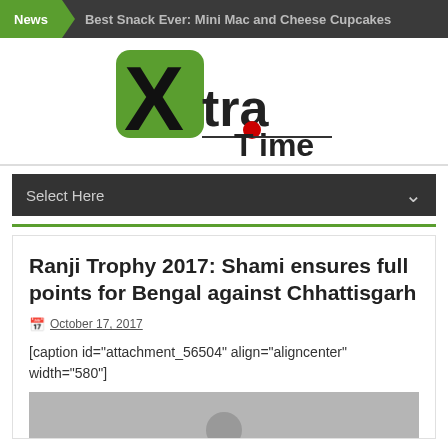News  Best Snack Ever: Mini Mac and Cheese Cupcakes
[Figure (logo): Xtra Time sports news logo — green square with X, stylized 'ra' text, red dot, and 'Time' text]
Select Here
Ranji Trophy 2017: Shami ensures full points for Bengal against Chhattisgarh
October 17, 2017
[caption id="attachment_56504" align="aligncenter" width="580"]
[Figure (photo): Partially visible photo at bottom of article card]